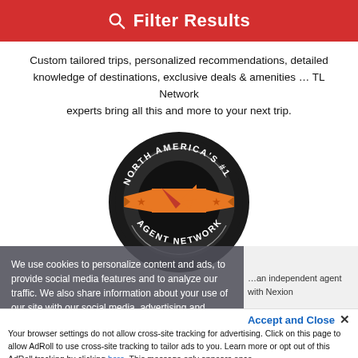Filter Results
Custom tailored trips, personalized recommendations, detailed knowledge of destinations, exclusive deals & amenities … TL Network experts bring all this and more to your next trip.
[Figure (logo): North America's #1 Agent Network badge/logo — circular black badge with orange arrow cursor icon in center, orange banner across middle with stars, text reading NORTH AMERICA'S #1 on top arc and AGENT NETWORK on bottom arc]
We use cookies to personalize content and ads, to provide social media features and to analyze our traffic. We also share information about your use of our site with our social media, advertising and analytics partners.
You are listed as an independent agent with Nexion
Accept and Close ✕
Your browser settings do not allow cross-site tracking for advertising. Click on this page to allow AdRoll to use cross-site tracking to tailor ads to you. Learn more or opt out of this AdRoll tracking by clicking here. This message only appears once.